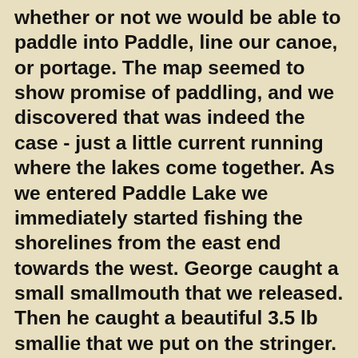whether or not we would be able to paddle into Paddle, line our canoe, or portage. The map seemed to show promise of paddling, and we discovered that was indeed the case - just a little current running where the lakes come together. As we entered Paddle Lake we immediately started fishing the shorelines from the east end towards the west. George caught a small smallmouth that we released. Then he caught a beautiful 3.5 lb smallie that we put on the stringer. As we fished for the next 4 hours, and snacking on dried fruit, trail mix, and bacon jerky, George caught a small keeper and a 2.5 lber, and I caught enough on the stringer now that we could let go the 3.5 lber, so we did. That smallie happily swam hungry, so we went back to our campsite... cleaned our 4 smallies, and feasted on smallmouth.
We use cookies to enhance your experience, for analytics, and to support 3rd party content and advertising providers. If you continue using this website, you agree to our privacy and legal agreement.